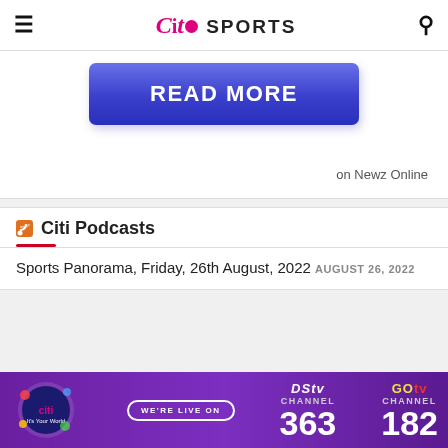Citi SPORTS
[Figure (other): READ MORE button — blue gradient rectangular button with bold white text]
on Newz Online
Citi Podcasts
Sports Panorama, Friday, 26th August, 2022 AUGUST 26, 2022
[Figure (other): Advertising banner: Citi TV logo, WE'RE LIVE ON text, DStv Channel 363, GOtv Channel 182]